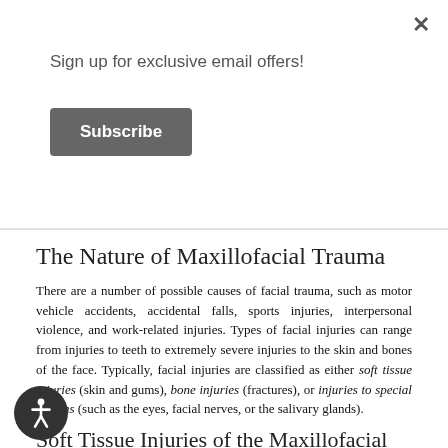Sign up for exclusive email offers!
Subscribe
The Nature of Maxillofacial Trauma
There are a number of possible causes of facial trauma, such as motor vehicle accidents, accidental falls, sports injuries, interpersonal violence, and work-related injuries. Types of facial injuries can range from injuries to teeth to extremely severe injuries to the skin and bones of the face. Typically, facial injuries are classified as either soft tissue injuries (skin and gums), bone injuries (fractures), or injuries to special regions (such as the eyes, facial nerves, or the salivary glands).
Soft Tissue Injuries of the Maxillofacial Region